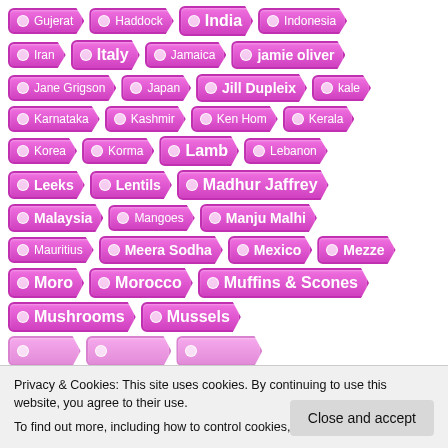Gujerat
Haddock
India
Indonesia
Iran
Italy
Jamaica
jamie oliver
Jane Grigson
Japan
Jill Dupleix
kale
Karnataka
Kashmir
Ken Hom
Kerala
Korea
Korma
Lamb
Lebanon
Leeks
Lentils
Madhur Jaffrey
Malaysia
Mangoes
Manju Malhi
Mauritius
Meera Sodha
Mexico
Mezze
Moro
Morocco
Muffins & Scones
Mushrooms
Mussels
Privacy & Cookies: This site uses cookies. By continuing to use this website, you agree to their use. To find out more, including how to control cookies, see here: Cookie Policy